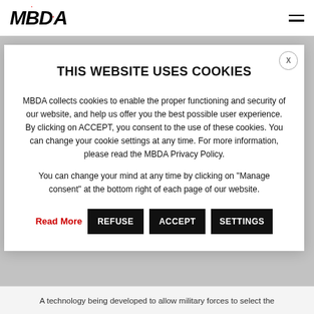[Figure (logo): MBDA logo in bold italic black text with a red dot above the 'D']
THIS WEBSITE USES COOKIES
MBDA collects cookies to enable the proper functioning and security of our website, and help us offer you the best possible user experience. By clicking on ACCEPT, you consent to the use of these cookies. You can change your cookie settings at any time. For more information, please read the MBDA Privacy Policy.
You can change your mind at any time by clicking on "Manage consent" at the bottom right of each page of our website.
Read More  REFUSE  ACCEPT  SETTINGS
A technology being developed to allow military forces to select the